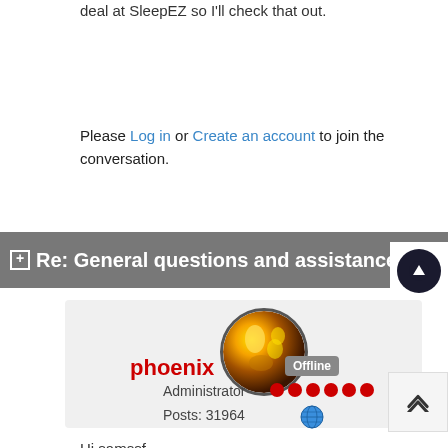deal at SleepEZ so I'll check that out.
Please Log in or Create an account to join the conversation.
Re: General questions and assistance
[Figure (photo): Forum user avatar for phoenix — circular photo with yellow/gold abstract image]
phoenix
Offline
Administrator
Posts: 31964
Hi samssf,
A quick reply before I'm off to bed 🙂
Besides the 3 we have mentioned (BayBed